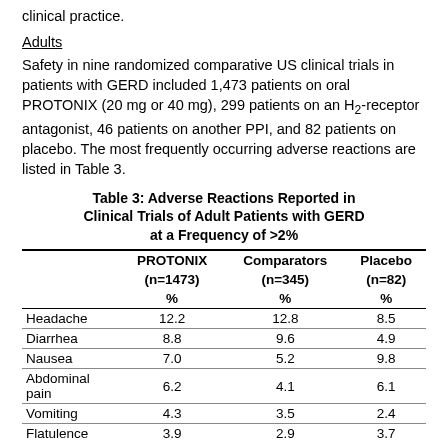clinical practice.
Adults
Safety in nine randomized comparative US clinical trials in patients with GERD included 1,473 patients on oral PROTONIX (20 mg or 40 mg), 299 patients on an H₂-receptor antagonist, 46 patients on another PPI, and 82 patients on placebo. The most frequently occurring adverse reactions are listed in Table 3.
|  | PROTONIX (n=1473) % | Comparators (n=345) % | Placebo (n=82) % |
| --- | --- | --- | --- |
| Headache | 12.2 | 12.8 | 8.5 |
| Diarrhea | 8.8 | 9.6 | 4.9 |
| Nausea | 7.0 | 5.2 | 9.8 |
| Abdominal pain | 6.2 | 4.1 | 6.1 |
| Vomiting | 4.3 | 3.5 | 2.4 |
| Flatulence | 3.9 | 2.9 | 3.7 |